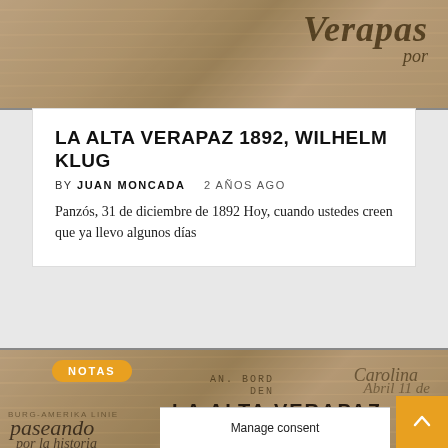[Figure (photo): Sepia-toned historical document/book cover image with cursive script reading 'Verapas' and 'por' visible in the top right]
LA ALTA VERAPAZ 1892, WILHELM KLUG
BY JUAN MONCADA   2 AÑOS AGO
Panzós, 31 de diciembre de 1892 Hoy, cuando ustedes creen que ya llevo algunos días
[Figure (photo): Sepia-toned historical document/letter scan with typewritten text 'AN BORD', 'DEN', cursive handwriting 'Carolina', 'Abril 11 de', imprint text 'HAMBURG-AMERIKA LINIE', large bold text 'LA ALTA VERAPAZ', 'WILHELM KLU', 'Presentaci', and italic script 'paseando', 'por la historia'. Orange 'NOTAS' badge in top-left corner.]